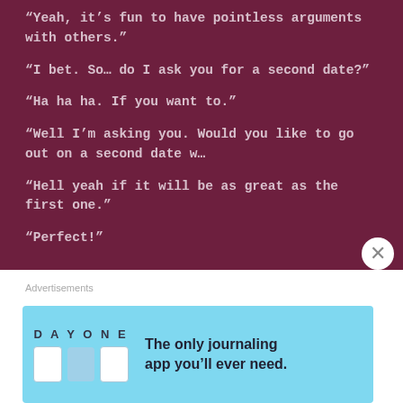“Yeah, it’s fun to have pointless arguments with others.”
“I bet. So… do I ask you for a second date?”
“Ha ha ha. If you want to.”
“Well I’m asking you. Would you like to go out on a second date w…
“Hell yeah if it will be as great as the first one.”
“Perfect!”
[Figure (illustration): Comic strip panel with black background and a light green tilted rectangle element]
Advertisements
[Figure (photo): DAY ONE journaling app advertisement banner on blue background with icons and text: The only journaling app you'll ever need.]